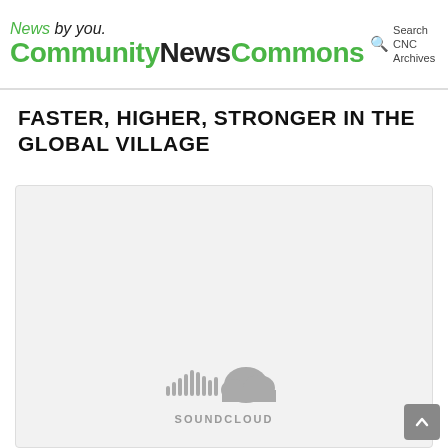News by you. CommunityNewsCommons — Search CNC Archives
FASTER, HIGHER, STRONGER IN THE GLOBAL VILLAGE
[Figure (logo): SoundCloud embedded audio player placeholder showing SoundCloud logo (cloud with sound wave bars) and text SOUNDCLOUD on a light gray background]